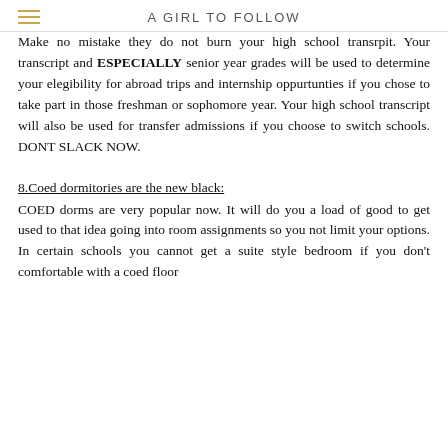A GIRL TO FOLLOW
Make no mistake they do not burn your high school transrpit. Your transcript and ESPECIALLY senior year grades will be used to determine your elegibility for abroad trips and internship oppurtunties if you chose to take part in those freshman or sophomore year. Your high school transcript will also be used for transfer admissions if you choose to switch schools. DONT SLACK NOW.
8.Coed dormitories are the new black:
COED dorms are very popular now. It will do you a load of good to get used to that idea going into room assignments so you not limit your options. In certain schools you cannot get a suite style bedroom if you don't comfortable with a coed floor